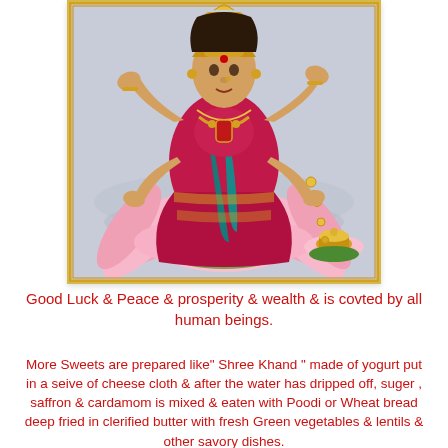[Figure (illustration): Traditional Indian painting of Goddess Lakshmi seated on a pink lotus flower, wearing colorful ornate garments in crimson, teal and gold, with multiple arms, elaborate jewelry and headdress, coins falling from one hand, a basket of gold offerings to the right, against a silver/lavender water background, framed with a gold border.]
Good Luck & Peace & prosperity & wealth & is covted by all human beings.
More Sweets are prepared like" Shree Khand " made of yogurt put in a seive of cheese cloth & after the water has dripped off, suger , saffron & cardamom is mixed & eaten with Poodi or Wheat bread deep fried in clerified butter with fresh Green vegetables & lentils & other savory dishes.